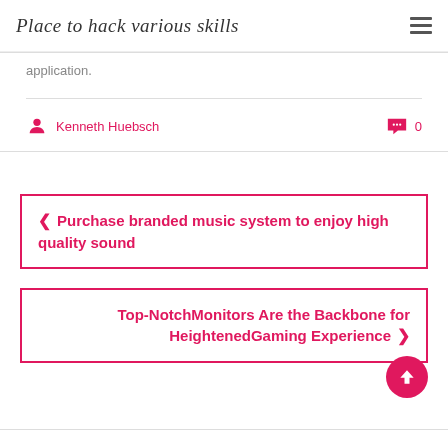Place to hack various skills
application.
Kenneth Huebsch  0
❮  Purchase branded music system to enjoy high quality sound
Top-NotchMonitors Are the Backbone for HeightenedGaming Experience  ❯